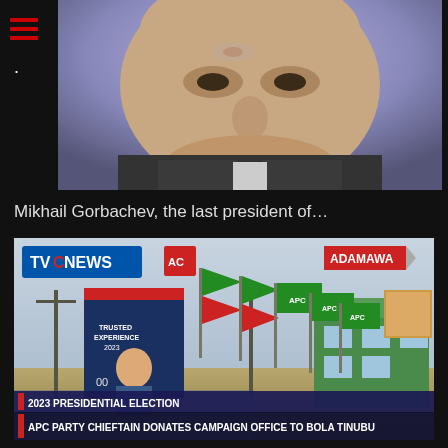[Figure (photo): Close-up photograph of Mikhail Gorbachev, an elderly man with a dark jacket, against a blurred blue/white background]
Mikhail Gorbachev, the last president of…
[Figure (screenshot): TVC News broadcast screenshot showing APC party flags and campaign office in Adamawa. Lower third reads: '2023 PRESIDENTIAL ELECTION — APC PARTY CHIEFTAIN DONATES CAMPAIGN OFFICE TO BOLA TINUBU']